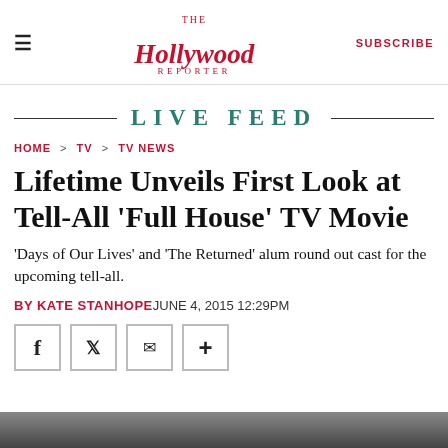The Hollywood Reporter | SUBSCRIBE
LIVE FEED
HOME > TV > TV NEWS
Lifetime Unveils First Look at Tell-All 'Full House' TV Movie
'Days of Our Lives' and 'The Returned' alum round out cast for the upcoming tell-all.
BY KATE STANHOPE JUNE 4, 2015 12:29PM
[Figure (screenshot): Social sharing buttons: Facebook, Twitter, Email, Plus]
[Figure (photo): Bottom image strip, partially visible]